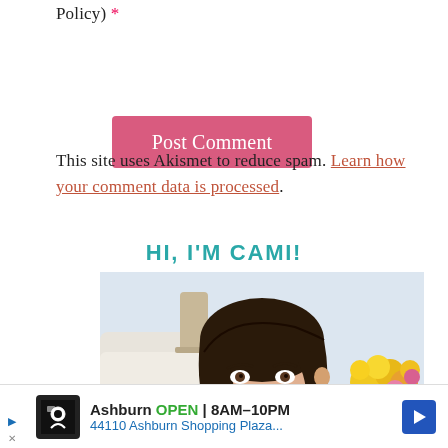Policy) *
Post Comment
This site uses Akismet to reduce spam. Learn how your comment data is processed.
HI, I'M CAMI!
[Figure (photo): Portrait photo of a smiling brunette woman, with flowers visible in the background]
[Figure (infographic): Advertisement bar: Ashburn OPEN 8AM-10PM, 44110 Ashburn Shopping Plaza...]